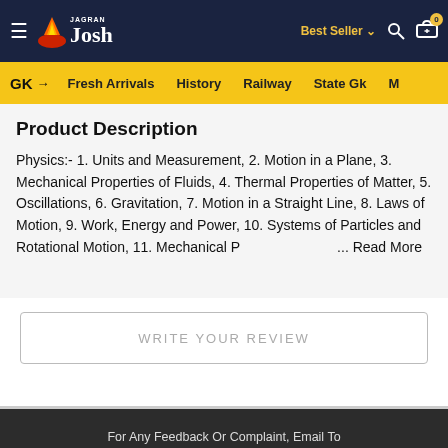Jagran Josh — Best Seller, Search, Cart (0)
GK → Fresh Arrivals History Railway State Gk M…
Product Description
Physics:- 1. Units and Measurement, 2. Motion in a Plane, 3. Mechanical Properties of Fluids, 4. Thermal Properties of Matter, 5. Oscillations, 6. Gravitation, 7. Motion in a Straight Line, 8. Laws of Motion, 9. Work, Energy and Power, 10. Systems of Particles and Rotational Motion, 11. Mechanical P … Read More
WRITE YOUR REVIEW
For Any Feedback Or Complaint, Email To compliant_gro@jagrannewmedia.com
© 2022 Josh Shop. All Rights Reserved.